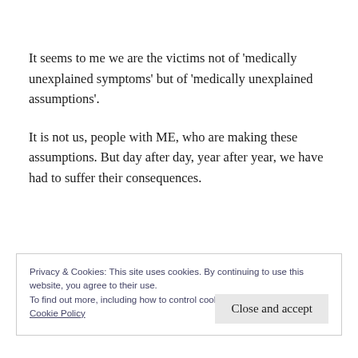It seems to me we are the victims not of 'medically unexplained symptoms' but of 'medically unexplained assumptions'.
It is not us, people with ME, who are making these assumptions. But day after day, year after year, we have had to suffer their consequences.
Privacy & Cookies: This site uses cookies. By continuing to use this website, you agree to their use.
To find out more, including how to control cookies, see here:
Cookie Policy
Close and accept